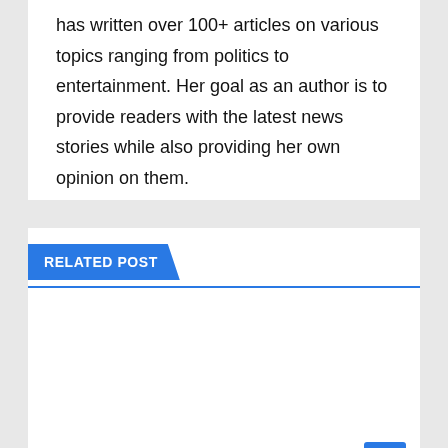has written over 100+ articles on various topics ranging from politics to entertainment. Her goal as an author is to provide readers with the latest news stories while also providing her own opinion on them.
RELATED POST
[Figure (photo): Dark blue digital background with network/blockchain graphic showing a Bitcoin coin, overlaid with article category badge 'CRYPTO NEWS' and title 'How to Start Trading Bitcoin – Day Trading, Scalping, Hedging, and Technical Indicators']